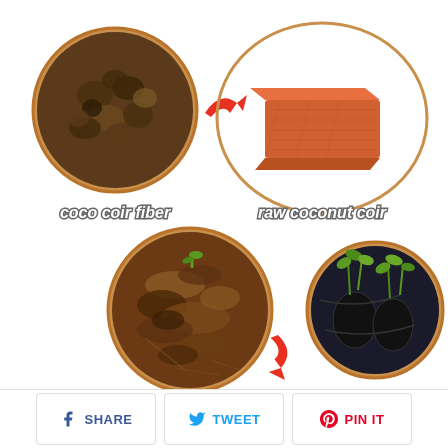[Figure (infographic): Infographic showing the process: coco coir fiber (circular photo of seeds/husks) → raw coconut coir (brick shaped block) → compressed coco coir brick (circular photo of loose soil/coir) → plant the plant (circular photo of seedlings in pots). Red curved arrows connect each step.]
coco coir fiber
raw coconut coir
compressed coco coir brick
plant the plant
SHARE   TWEET   PIN IT